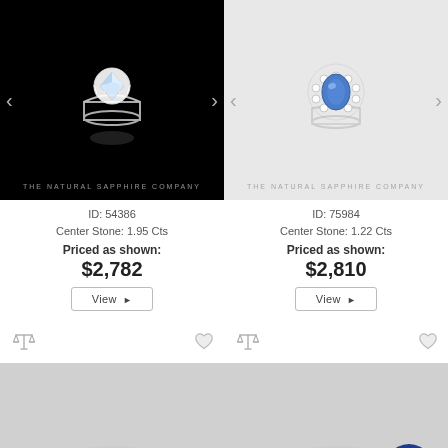[Figure (photo): Diamond solitaire ring on black background with The Natural Sapphire Company watermark, navigation arrows on sides]
ID: 54386
Center Stone: 1.95 Cts
Priced as shown:
$2,782
View ▶
[Figure (photo): Blue sapphire halo ring on light gray background with The Natural Sapphire Company watermark, navigation arrows on sides]
ID: 75984
Center Stone: 1.22 Cts
Priced as shown:
$2,810
View ▶
[Figure (photo): Partial view of ring on gray background, scale/compare icon and heart icon above]
[Figure (photo): Partial view of ring on gray background with chat bubble overlay, scale/compare icon and heart icon above]